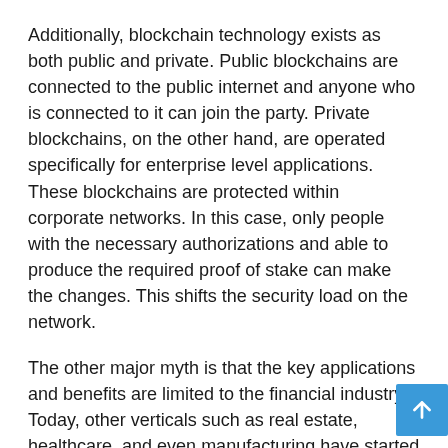Additionally, blockchain technology exists as both public and private. Public blockchains are connected to the public internet and anyone who is connected to it can join the party. Private blockchains, on the other hand, are operated specifically for enterprise level applications. These blockchains are protected within corporate networks. In this case, only people with the necessary authorizations and able to produce the required proof of stake can make the changes. This shifts the security load on the network.
The other major myth is that the key applications and benefits are limited to the financial industry. Today, other verticals such as real estate, healthcare, and even manufacturing have started exploring blockchain use cases. One major synergy that is expected to create an explosion of use cases is the combination of AI and blockchain. AI can increase the capacity of blockchain-based solutions due to its immense capacity for data exploration and processing. Global retail, governance and